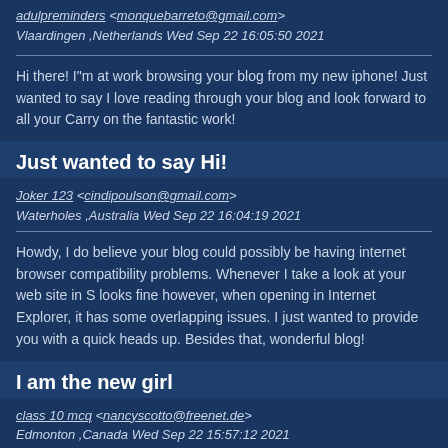adulpreminders <monquebarreto@gmail.com>
Vlaardingen ,Netherlands Wed Sep 22 16:05:50 2021
Hi there! I"m at work browsing your blog from my new iphone! Just wanted to say I love reading through your blog and look forward to all your Carry on the fantastic work!
Just wanted to say Hi!
Joker 123 <cindipoulson@gmail.com>
Waterholes ,Australia Wed Sep 22 16:04:19 2021
Howdy, I do believe your blog could possibly be having internet browser compatibility problems. Whenever I take a look at your web site in S looks fine however, when opening in Internet Explorer, it has some overlapping issues. I just wanted to provide you with a quick heads up. Besides that, wonderful blog!
I am the new girl
class 10 mcq <nancyscotto@freenet.de>
Edmonton ,Canada Wed Sep 22 15:57:12 2021